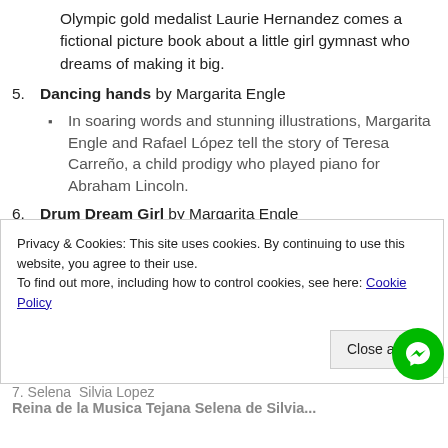Olympic gold medalist Laurie Hernandez comes a fictional picture book about a little girl gymnast who dreams of making it big.
5. Dancing hands by Margarita Engle
In soaring words and stunning illustrations, Margarita Engle and Rafael López tell the story of Teresa Carreño, a child prodigy who played piano for Abraham Lincoln.
6. Drum Dream Girl by Margarita Engle
In this picture book bursting with vibrance and rhythm, a girl dreams of playing the drums in 1930s Cuba, when the music-filled island had a taboo against female drummers.
7. Planting Stories by Anika Aldamuy Denise
Sembrando historias: Pura Belpré: bibliotecaria y narradora de cuentos by Anika Aldamuy
Privacy & Cookies: This site uses cookies. By continuing to use this website, you agree to their use.
To find out more, including how to control cookies, see here: Cookie Policy
Close and...
7. Selena  Silvia Lopez
Reina de la Musica Tejana Selena de Silvia...